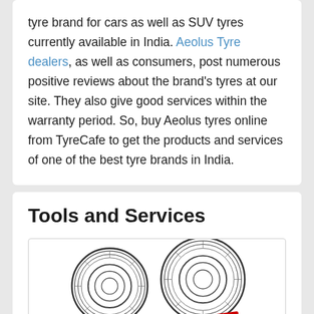tyre brand for cars as well as SUV tyres currently available in India. Aeolus Tyre dealers, as well as consumers, post numerous positive reviews about the brand's tyres at our site. They also give good services within the warranty period. So, buy Aeolus tyres online from TyreCafe to get the products and services of one of the best tyre brands in India.
Tools and Services
[Figure (illustration): Illustration of two tyres on a balance/seesaw with a red T-shaped base, suggesting tyre comparison or balancing service.]